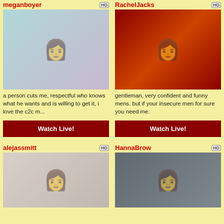meganboyer
[Figure (photo): Young woman with dark hair and pink lipstick, selfie style photo]
a person cuts me, respectful who knows what he wants and is willing to get it, i love the c2c m...
Watch Live!
RachelJacks
[Figure (photo): Woman in fishnet outfit reclining on ornate white sofa in red-lit room]
gentleman, very confident and funny mens. but if your insecure men for sure you need me.
Watch Live!
alejassmitt
[Figure (photo): Young woman with long brown hair, casual photo]
HannaBrow
[Figure (photo): Woman in dark blazer seated, office-like setting]